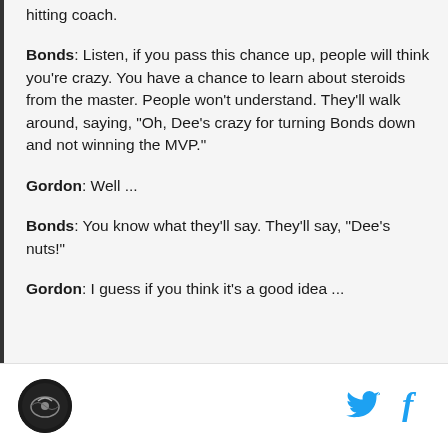hitting coach.
Bonds: Listen, if you pass this chance up, people will think you're crazy. You have a chance to learn about steroids from the master. People won't understand. They'll walk around, saying, "Oh, Dee's crazy for turning Bonds down and not winning the MVP."
Gordon: Well ...
Bonds: You know what they'll say. They'll say, "Dee's nuts!"
Gordon: I guess if you think it's a good idea ...
[Figure (logo): Circular logo with dark background and sports team emblem]
[Figure (logo): Twitter bird icon in blue]
[Figure (logo): Facebook f icon in blue]